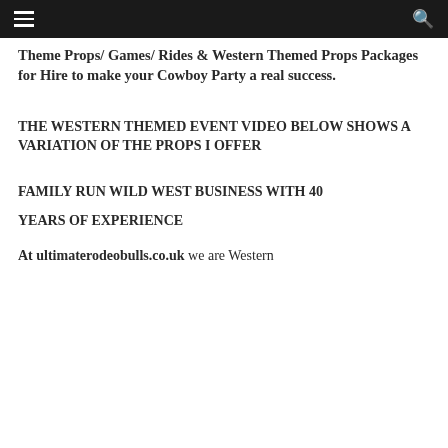Theme Props/ Games/ Rides & Western Themed Props Packages for Hire to make your Cowboy Party a real success.
THE WESTERN THEMED EVENT VIDEO BELOW SHOWS A VARIATION OF THE PROPS I OFFER
FAMILY RUN WILD WEST BUSINESS WITH 40
YEARS OF EXPERIENCE
At ultimaterodeobulls.co.uk we are Western